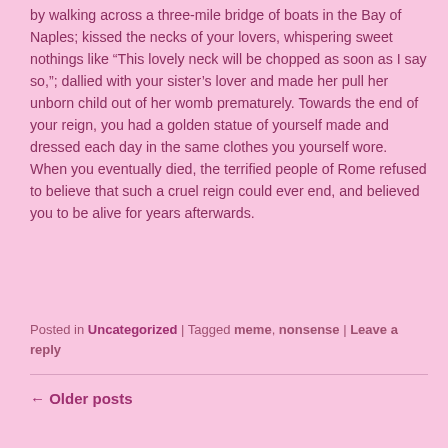by walking across a three-mile bridge of boats in the Bay of Naples; kissed the necks of your lovers, whispering sweet nothings like “This lovely neck will be chopped as soon as I say so,”; dallied with your sister’s lover and made her pull her unborn child out of her womb prematurely. Towards the end of your reign, you had a golden statue of yourself made and dressed each day in the same clothes you yourself wore. When you eventually died, the terrified people of Rome refused to believe that such a cruel reign could ever end, and believed you to be alive for years afterwards.
Posted in Uncategorized | Tagged meme, nonsense | Leave a reply
← Older posts